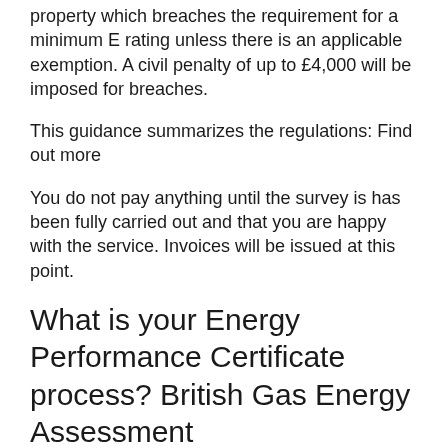property which breaches the requirement for a minimum E rating unless there is an applicable exemption. A civil penalty of up to £4,000 will be imposed for breaches.
This guidance summarizes the regulations: Find out more
You do not pay anything until the survey is has been fully carried out and that you are happy with the service. Invoices will be issued at this point.
What is your Energy Performance Certificate process? British Gas Energy Assessment